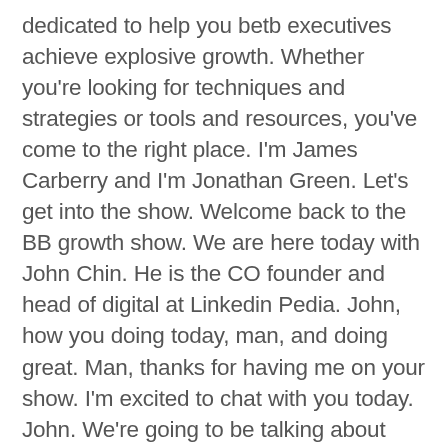dedicated to help you betb executives achieve explosive growth. Whether you're looking for techniques and strategies or tools and resources, you've come to the right place. I'm James Carberry and I'm Jonathan Green. Let's get into the show. Welcome back to the BB growth show. We are here today with John Chin. He is the CO founder and head of digital at Linkedin Pedia. John, how you doing today, man, and doing great. Man, thanks for having me on your show. I'm excited to chat with you today. John. We're going to be talking about Linkedin and it is something you have some deep expertise and so I'm excited to dive in. Tell us a little bit about Linkedin PD and what you and your team are up to over there. Well, team and Linkedin Pedia. What is really some bullwill on the mission to help people kind of brand themselves professionally in a personal way. Will believe that, you know, the rules of the game has totally change. It's no longer a game where, you know, people dumped their resumes on Linkedin and try to make a name for themselves through some sort of like miracle, some